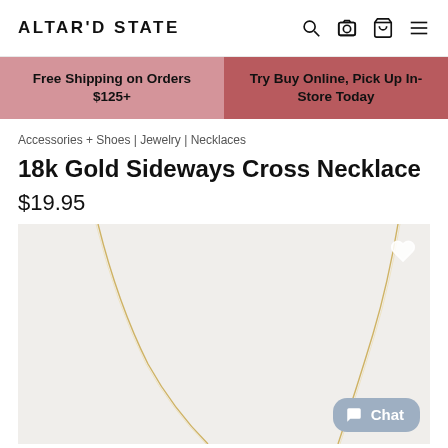ALTAR'D STATE
Free Shipping on Orders $125+
Try Buy Online, Pick Up In-Store Today
Accessories + Shoes | Jewelry | Necklaces
18k Gold Sideways Cross Necklace
$19.95
[Figure (photo): Product photo of a gold chain necklace on a light gray background with a heart/wishlist icon and a Chat button overlay]